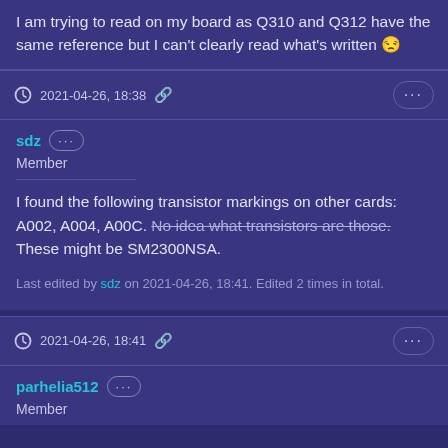I am trying to read on my board as Q310 and Q312 have the same reference but I can't clearly read what's written 😒
2021-04-26, 18:38 🔗
sdz ··· Member
I found the following transistor markings on other cards: A002, A004, A00C. No idea what transistors are those. These might be SM2300NSA.
Last edited by sdz on 2021-04-26, 18:41. Edited 2 times in total.
2021-04-26, 18:41 🔗
parhelia512 ··· Member